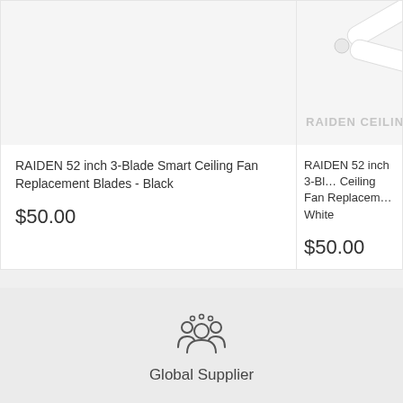RAIDEN 52 inch 3-Blade Smart Ceiling Fan Replacement Blades - Black
$50.00
RAIDEN 52 inch 3-Blade Smart Ceiling Fan Replacement Blades - White
$50.00
[Figure (photo): White ceiling fan blades on a white background with RAIDEN CEILING watermark]
Global Supplier